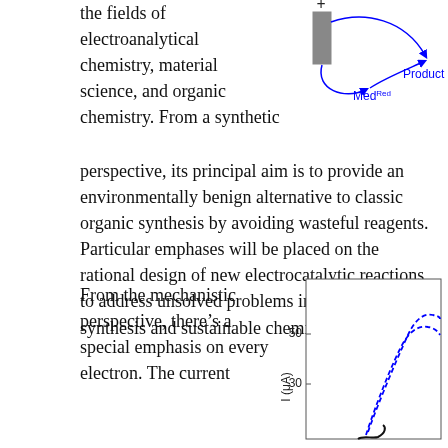the fields of electroanalytical chemistry, material science, and organic chemistry. From a synthetic perspective, its principal aim is to provide an environmentally benign alternative to classic organic synthesis by avoiding wasteful reagents. Particular emphases will be placed on the rational design of new electrocatalytic reactions to address unsolved problems in organic synthesis and sustainable chemistry.
[Figure (schematic): Electrochemical schematic showing a electrode (gray rectangle with + sign) connected by blue curved arrows to MedRed and Product labels in blue text]
From the mechanistic perspective, there's a special emphasis on every electron. The current
[Figure (continuous-plot): Electrochemical plot showing I (μA) on y-axis with values 30 and 50 labeled, dashed blue curves and a solid black curve partially visible at bottom]